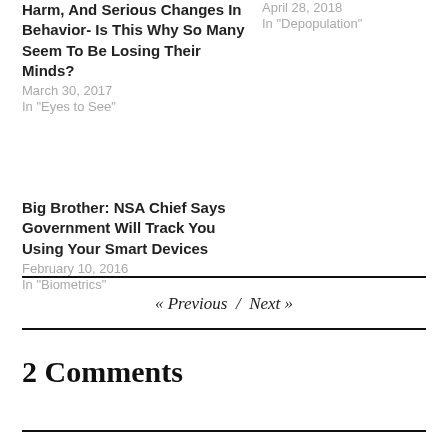Harm, And Serious Changes In Behavior- Is This Why So Many Seem To Be Losing Their Minds?
March 30, 2017
In "Eyes to See"
April 28, 2018
In "Depopulation"
Big Brother: NSA Chief Says Government Will Track You Using Your Smart Devices
February 10, 2016
In "Biometrics"
« Previous / Next »
2 Comments